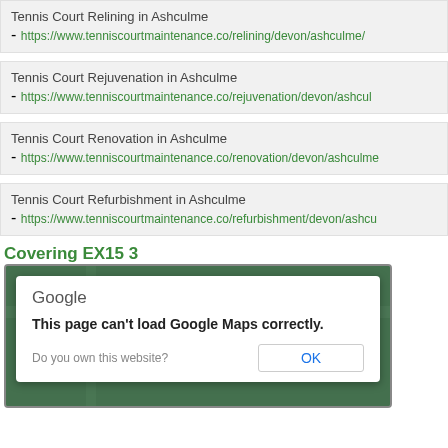Tennis Court Relining in Ashculme - https://www.tenniscourtmaintenance.co/relining/devon/ashculme/
Tennis Court Rejuvenation in Ashculme - https://www.tenniscourtmaintenance.co/rejuvenation/devon/ashculme
Tennis Court Renovation in Ashculme - https://www.tenniscourtmaintenance.co/renovation/devon/ashculme
Tennis Court Refurbishment in Ashculme - https://www.tenniscourtmaintenance.co/refurbishment/devon/ashcu
Covering EX15 3
[Figure (screenshot): Google Maps error dialog on a map background. Dialog shows 'Google' logo, 'This page can't load Google Maps correctly.' message, 'Do you own this website?' text, and an OK button.]